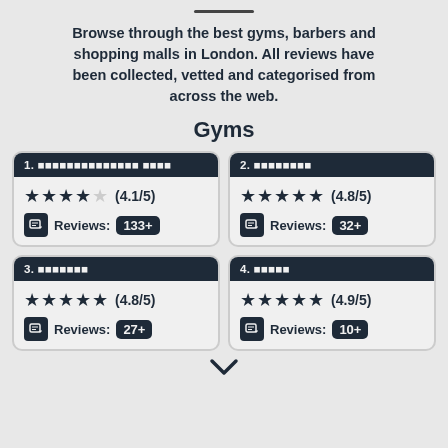Browse through the best gyms, barbers and shopping malls in London. All reviews have been collected, vetted and categorised from across the web.
Gyms
1. [redacted gym name] — (4.1/5) Reviews: 133+
2. [redacted gym name] — (4.8/5) Reviews: 32+
3. [redacted gym name] — (4.8/5) Reviews: 27+
4. [redacted gym name] — (4.9/5) Reviews: 10+